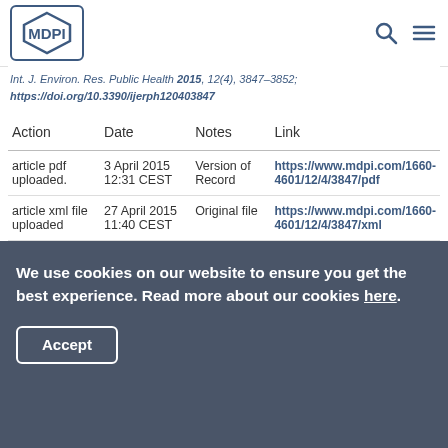MDPI
Int. J. Environ. Res. Public Health 2015, 12(4), 3847-3852; https://doi.org/10.3390/ijerph120403847
| Action | Date | Notes | Link |
| --- | --- | --- | --- |
| article pdf uploaded. | 3 April 2015 12:31 CEST | Version of Record | https://www.mdpi.com/1660-4601/12/4/3847/pdf |
| article xml file uploaded | 27 April 2015 11:40 CEST | Original file | https://www.mdpi.com/1660-4601/12/4/3847/xml |
We use cookies on our website to ensure you get the best experience. Read more about our cookies here.
Accept